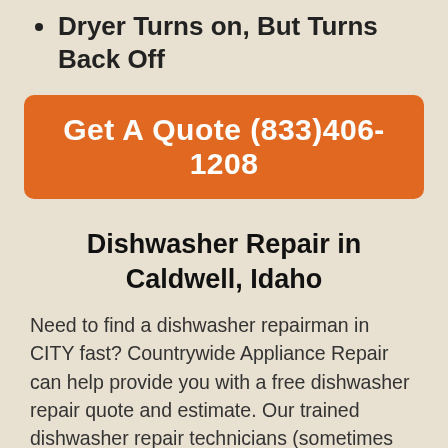Dryer Turns on, But Turns Back Off
Get A Quote (833)406-1208
Dishwasher Repair in Caldwell, Idaho
Need to find a dishwasher repairman in CITY fast? Countrywide Appliance Repair can help provide you with a free dishwasher repair quote and estimate. Our trained dishwasher repair technicians (sometimes called Dishwasher Fixers) can take a look at your dishwasher and quickly diagnose mechanical or electrical problems that may be preventing your dishwasher from properly working. If